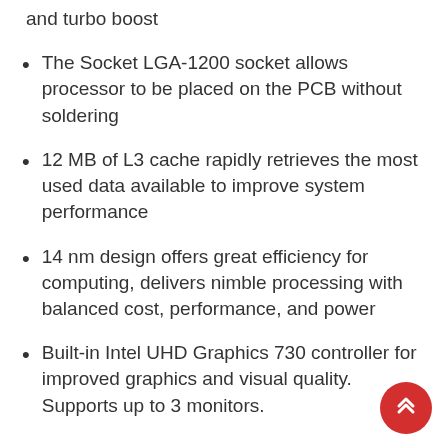and turbo boost
The Socket LGA-1200 socket allows processor to be placed on the PCB without soldering
12 MB of L3 cache rapidly retrieves the most used data available to improve system performance
14 nm design offers great efficiency for computing, delivers nimble processing with balanced cost, performance, and power
Built-in Intel UHD Graphics 730 controller for improved graphics and visual quality. Supports up to 3 monitors.